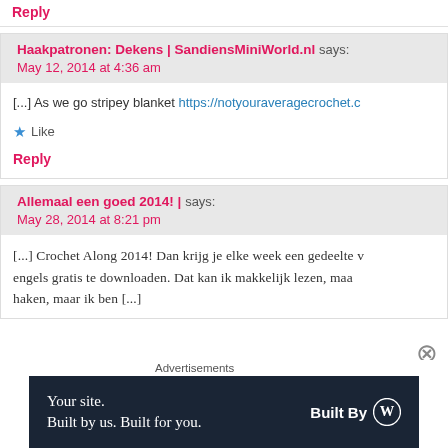Reply
Haakpatronen: Dekens | SandiensMiniWorld.nl says:
May 12, 2014 at 4:36 am
[...] As we go stripey blanket https://notyouraveragecrochet.c
Like
Reply
Allemaal een goed 2014! | says:
May 28, 2014 at 8:21 pm
[...] Crochet Along 2014! Dan krijg je elke week een gedeelte v engels gratis te downloaden. Dat kan ik makkelijk lezen, maa haken, maar ik ben [...]
Advertisements
[Figure (other): Advertisement banner: dark navy background, text 'Your site. Built by us. Built for you.' and 'Built By' with WordPress logo]